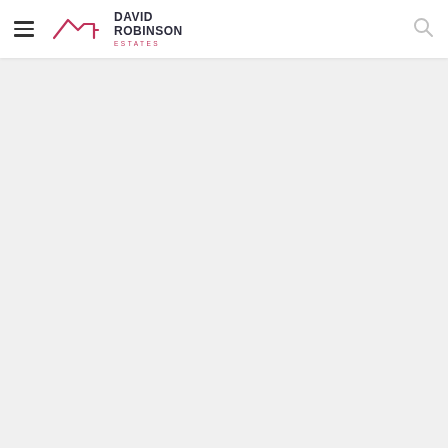[Figure (logo): David Robinson Estates logo with house roofline icon in pink/red and bold dark text reading DAVID ROBINSON with ESTATES in pink letterspaced below]
[Figure (other): Hamburger menu icon (three horizontal lines) on the left of the header]
[Figure (other): Search (magnifying glass) icon on the right of the header]
[Figure (other): Chevron/caret up arrow icon below the header separator, centered]